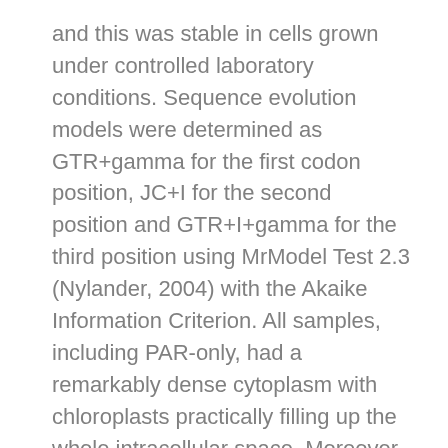and this was stable in cells grown under controlled laboratory conditions. Sequence evolution models were determined as GTR+gamma for the first codon position, JC+I for the second position and GTR+I+gamma for the third position using MrModel Test 2.3 (Nylander, 2004) with the Akaike Information Criterion. All samples, including PAR-only, had a remarkably dense cytoplasm with chloroplasts practically filling up the whole intracellular space. Moreover, any structural and functional knowledge could help to resolve the diversity and evolution of Zygnematophyceae, the most species-rich charophyte lineage. Cellular diameter is influenced by additional factors such as culture age (Herburger et al., 2015) and environmental conditions (Miller & Hoshaw, 1974; Stancheva et al., 2012). The outer mesospore layer